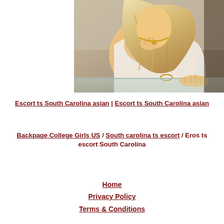[Figure (photo): A blonde woman wearing a white outfit and gold necklace, leaning over a glass table surface, photographed from above at an angle.]
Escort ts South Carolina asian | Escort ts South Carolina asian
Backpage College Girls US / South carolina ts escort / Eros ts escort South Carolina
Home
Privacy Policy
Terms & Conditions